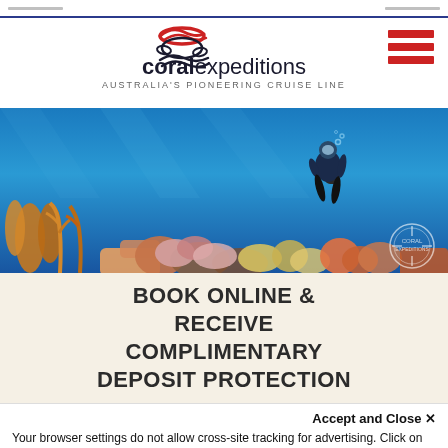[Figure (logo): Coral Expeditions logo with turtle and wave motif, text 'coralexpeditions AUSTRALIA'S PIONEERING CRUISE LINE']
[Figure (photo): Underwater photo of a scuba diver above colorful coral reef with blue water]
BOOK ONLINE & RECEIVE COMPLIMENTARY DEPOSIT PROTECTION
Accept and Close ×
Your browser settings do not allow cross-site tracking for advertising. Click on this page to allow AdRoll to use cross-site tracking to tailor ads to you. Learn more or opt out of this AdRoll tracking by clicking here. This message only appears once.